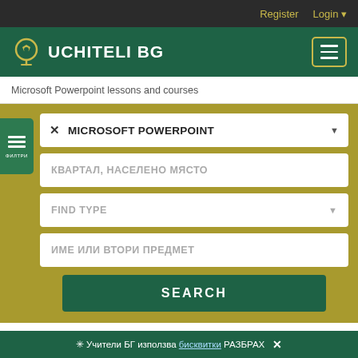Register  Login
UCHITELI BG
Microsoft Powerpoint lessons and courses
MICROSOFT POWERPOINT
КВАРТАЛ, НАСЕЛЕНО МЯСТО
FIND TYPE
ИМЕ ИЛИ ВТОРИ ПРЕДМЕТ
SEARCH
LIST
MAP
1. Образователен център "Да...
✳ Учители БГ използва бисквитки РАЗБРАХ ✕